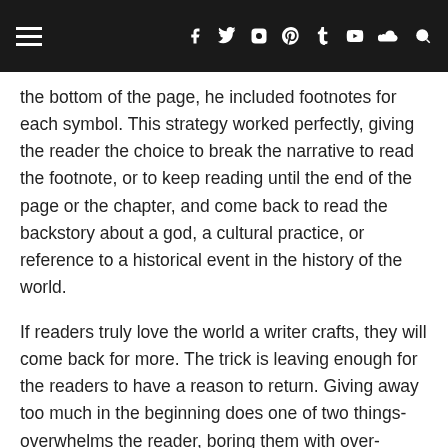Navigation header with hamburger menu and social icons
the bottom of the page, he included footnotes for each symbol. This strategy worked perfectly, giving the reader the choice to break the narrative to read the footnote, or to keep reading until the end of the page or the chapter, and come back to read the backstory about a god, a cultural practice, or reference to a historical event in the history of the world.
If readers truly love the world a writer crafts, they will come back for more. The trick is leaving enough for the readers to have a reason to return. Giving away too much in the beginning does one of two things- overwhelms the reader, boring them with over-information, or satisfies them to the point there are no questions left for them to answer.